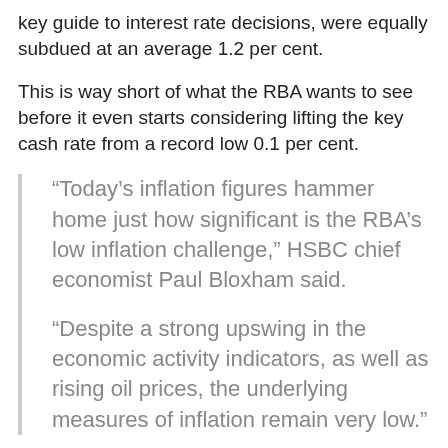key guide to interest rate decisions, were equally subdued at an average 1.2 per cent.
This is way short of what the RBA wants to see before it even starts considering lifting the key cash rate from a record low 0.1 per cent.
“Today’s inflation figures hammer home just how significant is the RBA’s low inflation challenge,” HSBC chief economist Paul Bloxham said.
“Despite a strong upswing in the economic activity indicators, as well as rising oil prices, the underlying measures of inflation remain very low.”
The minutes of the RBA’s April board meeting